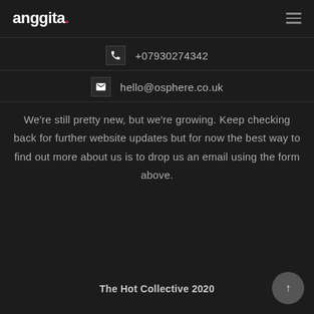anggita.
+07930274342
hello@osphere.co.uk
We're still pretty new, but we're growing. Keep checking back for further website updates but for now the best way to find out more about us is to drop us an email using the form above.
The Hot Collective 2020